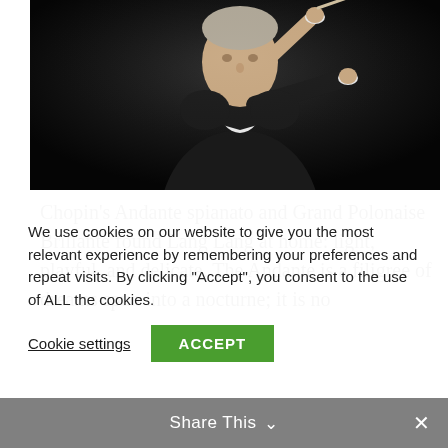[Figure (photo): A conductor in a dark suit holding a baton, photographed against a black background, raising arms mid-gesture.]
Chopin's Andante spianato and Grand Polonaise Brillante found Lang Lang at home: light, playful, and delicate. The Andante is a filigree of dreams spun into a nocturne; it is no
We use cookies on our website to give you the most relevant experience by remembering your preferences and repeat visits. By clicking "Accept", you consent to the use of ALL the cookies.
Cookie settings
ACCEPT
Share This ∨  ✕